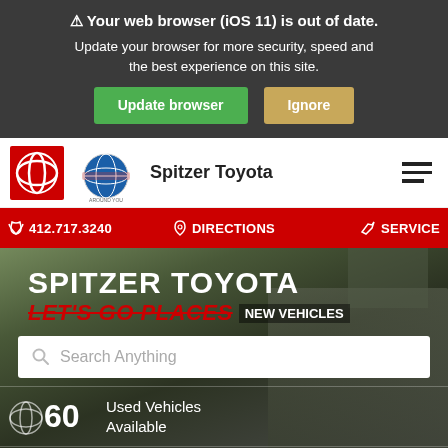⚠ Your web browser (iOS 11) is out of date. Update your browser for more security, speed and the best experience on this site.
Update browser | Ignore
[Figure (logo): Spitzer Toyota dealership logo with Toyota red badge, globe logo, and text 'Spitzer Toyota' with hamburger menu]
📞 412.717.3240   📍 DIRECTIONS   🔑 SERVICE
SPITZER TOYOTA
LET'S GO PLACES  New Vehicles
Search Anything
60 Used Vehicles Available
14 CPO Vehicles